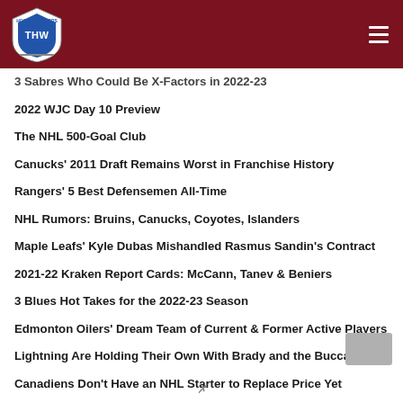THW - The Hockey Writers
3 Sabres Who Could Be X-Factors in 2022-23
2022 WJC Day 10 Preview
The NHL 500-Goal Club
Canucks' 2011 Draft Remains Worst in Franchise History
Rangers' 5 Best Defensemen All-Time
NHL Rumors: Bruins, Canucks, Coyotes, Islanders
Maple Leafs' Kyle Dubas Mishandled Rasmus Sandin's Contract
2021-22 Kraken Report Cards: McCann, Tanev & Beniers
3 Blues Hot Takes for the 2022-23 Season
Edmonton Oilers' Dream Team of Current & Former Active Players
Lightning Are Holding Their Own With Brady and the Buccaneers
Canadiens Don't Have an NHL Starter to Replace Price Yet
Canucks' Potential 2022-23 Opening Night Lineup